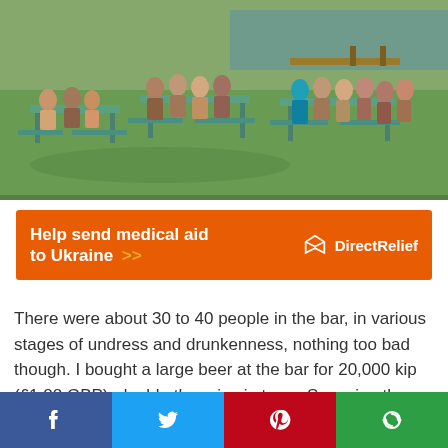[Figure (photo): Outdoor riverside scene with 30-40 people sitting at picnic tables on grass, many shirtless, near a body of water with a dock in background]
[Figure (other): Direct Relief advertisement banner in orange: 'Help send medical aid to Ukraine >>' with Direct Relief logo]
There were about 30 to 40 people in the bar, in various stages of undress and drunkenness, nothing too bad though. I bought a large beer at the bar for 20,000 kip (£1.88 GBP), double the price in town. Scanning the room I spotted the others playing a game of beer pong and decided to join them. When in Rome and all that!
[Figure (other): Social media share bar with Facebook, Twitter, Pinterest, and More buttons]